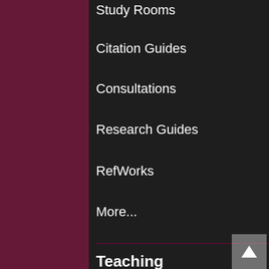Study Rooms
Citation Guides
Consultations
Research Guides
RefWorks
More...
Teaching
Faculty Resources
Idun
Library Liaisons
Writing Lab